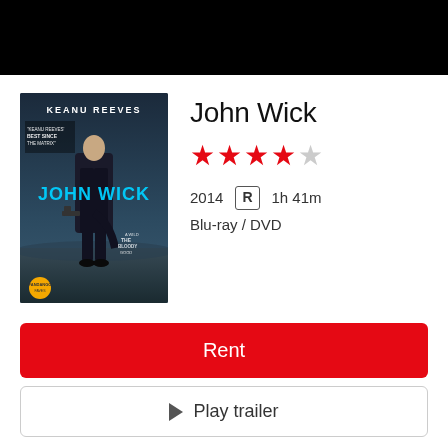[Figure (photo): John Wick movie poster featuring Keanu Reeves in a dark suit with the text KEANU REEVES and JOHN WICK on the cover]
John Wick
★★★★☆ (4 out of 5 stars)
2014   R   1h 41m
Blu-ray / DVD
Rent
▶ Play trailer
Overview
Details